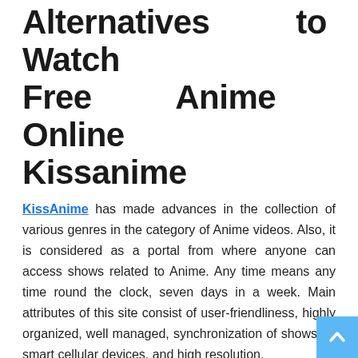Alternatives to Watch Free Anime Online Kissanime
KissAnime has made advances in the collection of various genres in the category of Anime videos. Also, it is considered as a portal from where anyone can access shows related to Anime. Any time means any time round the clock, seven days in a week. Main attributes of this site consist of user-friendliness, highly organized, well managed, synchronization of shows on smart cellular devices, and high resolution.
Besides that, Kiss Anime is that website which has a massive collection of complete seasons of the shows. The site also has features that make it unique. One of them is about dubbed English cartoons which give non-natives an edge to enjoy the shows. In addition to it, if you don't find a specific show on the website, then you can actually place a request to arrange. Since the high-quality